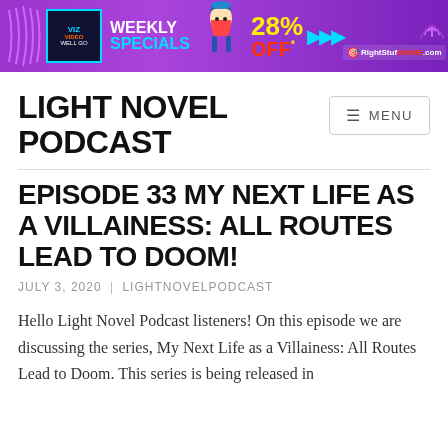[Figure (illustration): Purple banner advertisement for RightStufAnime.com showing Viz Media Weekly Specials with 28% OFF, featuring an anime character (Ash from Pokemon) and cyan/yellow color scheme]
LIGHT NOVEL PODCAST
≡ MENU
EPISODE 33 MY NEXT LIFE AS A VILLAINESS: ALL ROUTES LEAD TO DOOM!
JULY 3, 2020 | LIGHTNOVELPODCAST
Hello Light Novel Podcast listeners! On this episode we are discussing the series, My Next Life as a Villainess: All Routes Lead to Doom. This series is being released in